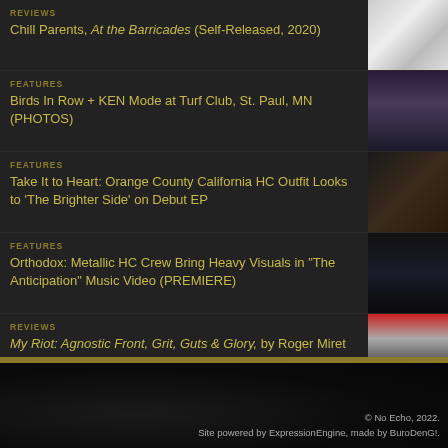REVIEWS
Chill Parents, At the Barricades (Self-Released, 2020)
FEATURES
Birds In Row + KEN Mode at Turf Club, St. Paul, MN (PHOTOS)
FEATURES
Take It to Heart: Orange County California HC Outfit Looks to 'The Brighter Side' on Debut EP
FEATURES
Orthodox: Metallic HC Crew Bring Heavy Visuals in "The Anticipation" Music Video (PREMIERE)
REVIEWS
My Riot: Agnostic Front, Grit, Guts & Glory, by Roger Miret with Jon Wiederhorn (Lesser Gods, 2017)
© No Echo, 2022.
Site powered by ExpressionEngine, made by BuroDenG!.